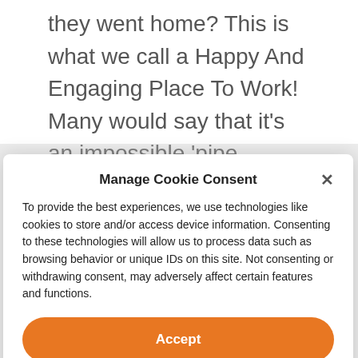they went home?  This is what we call a Happy And Engaging Place To Work!  Many would say that it's an impossible 'pipe
Manage Cookie Consent
To provide the best experiences, we use technologies like cookies to store and/or access device information. Consenting to these technologies will allow us to process data such as browsing behavior or unique IDs on this site. Not consenting or withdrawing consent, may adversely affect certain features and functions.
Accept
View preferences
Privacy Policy